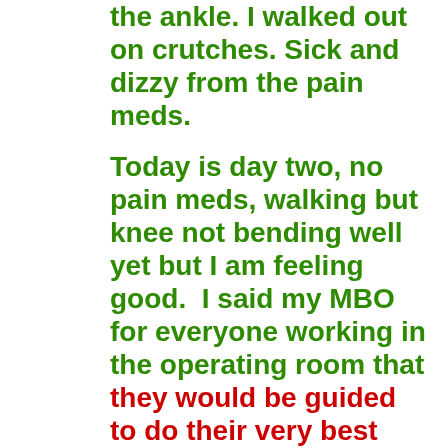the ankle. I walked out on crutches. Sick and dizzy from the pain meds.
Today is day two, no pain meds, walking but knee not bending well yet but I am feeling good.  I said my MBO for everyone working in the operating room that they would be guided to do their very best work and my recovery would be far better and faster than I could ever hope for or expect and that is coming true!!!!